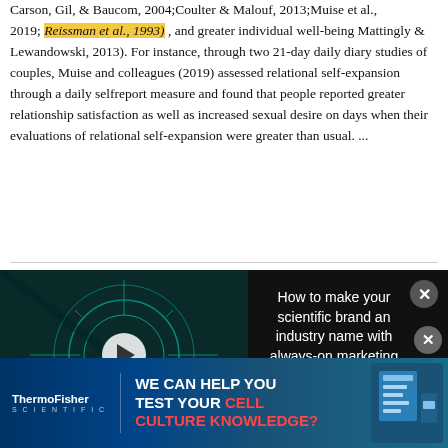Carson, Gil, & Baucom, 2004;Coulter & Malouf, 2013;Muise et al., 2019; Reissman et al., 1993) , and greater individual well-being Mattingly & Lewandowski, 2013). For instance, through two 21-day daily diary studies of couples, Muise and colleagues (2019) assessed relational self-expansion through a daily selfreport measure and found that people reported greater relationship satisfaction as well as increased sexual desire on days when their evaluations of relational self-expansion were greater than usual. ...
... Putting aside the ongoing debate about the essential features of exciting couple activities, there is mounting
[Figure (screenshot): Advertisement overlay showing a video thumbnail for 'How to make your scientific brand an industry name with always-on marketing' with a dark background, teal circuit/tech imagery, and play button. Text on right side reads the same title in white on dark background. Close button (X) in top right.]
activities bode well for relationship maintenance by providing intimate couples with a means to occasionally break away from routine behaviours which may lead to
[Figure (screenshot): Bottom banner advertisement for ThermoFisher Scientific with text 'WE CAN HELP YOU TEST YOUR CELL CULTURE KNOWLEDGE?' on dark blue background with a product image on the right side.]